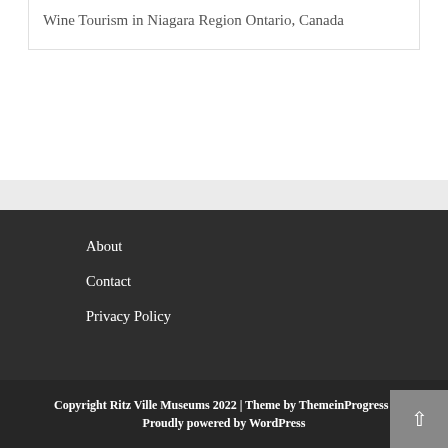Wine Tourism in Niagara Region Ontario, Canada
About
Contact
Privacy Policy
Copyright Ritz Ville Museums 2022 | Theme by ThemeinProgress | Proudly powered by WordPress